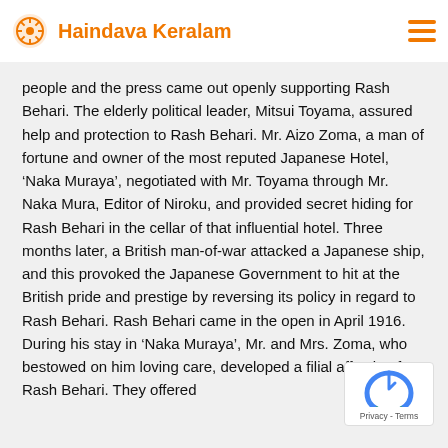Haindava Keralam
people and the press came out openly supporting Rash Behari. The elderly political leader, Mitsui Toyama, assured help and protection to Rash Behari. Mr. Aizo Zoma, a man of fortune and owner of the most reputed Japanese Hotel, ‘Naka Muraya’, negotiated with Mr. Toyama through Mr. Naka Mura, Editor of Niroku, and provided secret hiding for Rash Behari in the cellar of that influential hotel. Three months later, a British man-of-war attacked a Japanese ship, and this provoked the Japanese Government to hit at the British pride and prestige by reversing its policy in regard to Rash Behari. Rash Behari came in the open in April 1916. During his stay in ‘Naka Muraya’, Mr. and Mrs. Zoma, who bestowed on him loving care, developed a filial affection for Rash Behari. They offered their eldest daughter Toshiko in marriage to Rash Behari.